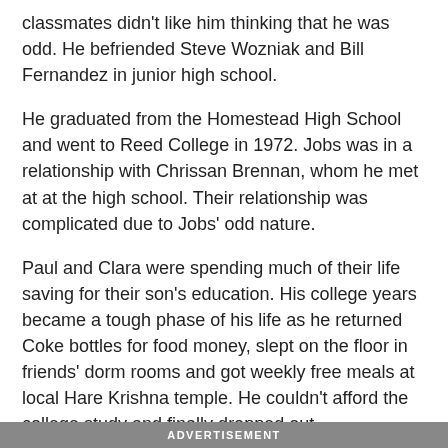classmates didn't like him thinking that he was odd. He befriended Steve Wozniak and Bill Fernandez in junior high school.
He graduated from the Homestead High School and went to Reed College in 1972. Jobs was in a relationship with Chrissan Brennan, whom he met at at the high school. Their relationship was complicated due to Jobs' odd nature.
Paul and Clara were spending much of their life saving for their son's education. His college years became a tough phase of his life as he returned Coke bottles for food money, slept on the floor in friends' dorm rooms and got weekly free meals at local Hare Krishna temple. He couldn't afford the college study and finally dropped out.
ADVERTISEMENT